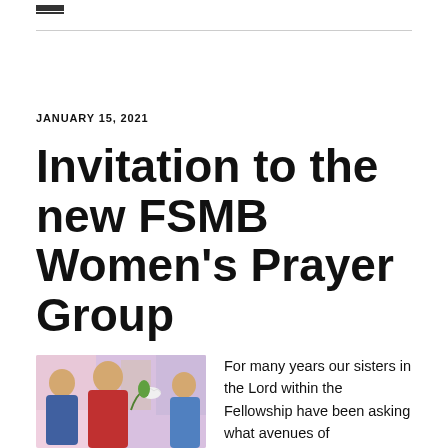JANUARY 15, 2021
Invitation to the new FSMB Women's Prayer Group
[Figure (illustration): Religious icon painting showing three women with halos, rendered in Byzantine style with pink, red, and blue tones. A dove appears in the scene.]
For many years our sisters in the Lord within the Fellowship have been asking what avenues of